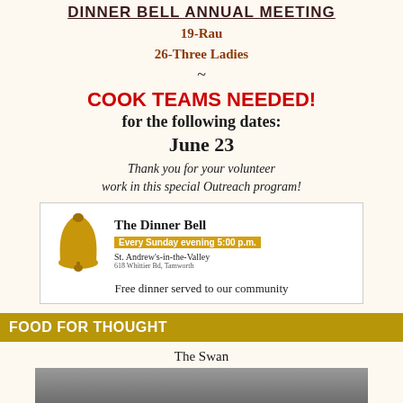DINNER BELL ANNUAL MEETING
19-Rau
26-Three Ladies
~
COOK TEAMS NEEDED!
for the following dates:
June 23
Thank you for your volunteer work in this special Outreach program!
[Figure (infographic): The Dinner Bell advertisement: bell icon, 'The Dinner Bell', 'Every Sunday evening 5:00 p.m.', 'St. Andrew's-in-the-Valley', '618 Whittier Bd, Tamworth', 'Free dinner served to our community']
FOOD FOR THOUGHT
The Swan
[Figure (photo): Photo of a swan, partially visible at bottom of page]